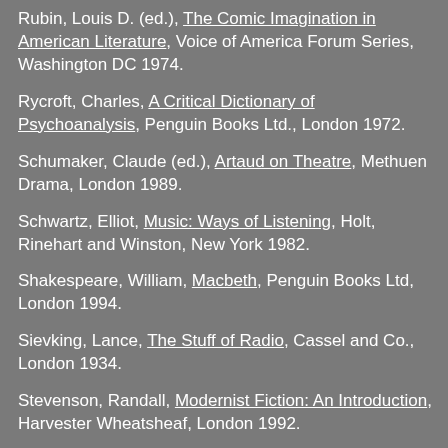Rubin, Louis D. (ed.), The Comic Imagination in American Literature, Voice of America Forum Series, Washington DC 1974.
Rycroft, Charles, A Critical Dictionary of Psychoanalysis, Penguin Books Ltd., London 1972.
Schumaker, Claude (ed.), Artaud on Theatre, Methuen Drama, London 1989.
Schwartz, Elliot, Music: Ways of Listening, Holt, Rinehart and Winston, New York 1982.
Shakespeare, William, Macbeth, Penguin Books Ltd, London 1994.
Sievking, Lance, The Stuff of Radio, Cassel and Co., London 1934.
Stevenson, Randall, Modernist Fiction: An Introduction, Harvester Wheatsheaf, London 1992.
Stoppard, Tom, Stoppard: The Plays for Radio 1964-1983, Faber and Faber Ltd., London 1990.
Styan, J.L., The Dark Comedy: The Development of Modern Tragicomedy, Cambridge University Press, London 1968.